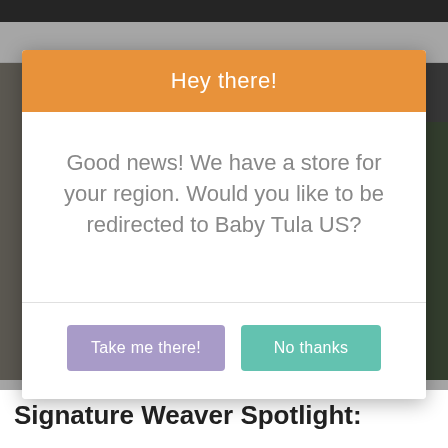[Figure (screenshot): Screenshot of a website with a modal popup dialog overlaying a photo background. The modal has an orange header bar and white body with buttons.]
Hey there!
Good news! We have a store for your region. Would you like to be redirected to Baby Tula US?
Take me there!
No thanks
Signature Weaver Spotlight: